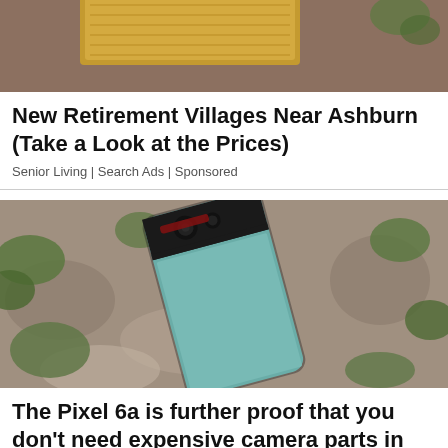[Figure (photo): Top portion of a photo showing a golden/yellow doormat on a brown surface, partially cropped]
New Retirement Villages Near Ashburn (Take a Look at the Prices)
Senior Living | Search Ads | Sponsored
[Figure (photo): Google Pixel 6a smartphone lying face-up on rocky ground with green moss/plants around it]
The Pixel 6a is further proof that you don't need expensive camera parts in your next...